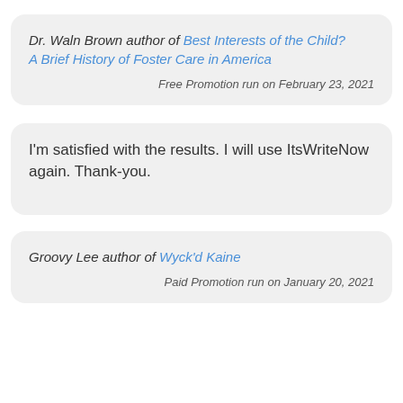Dr. Waln Brown author of Best Interests of the Child? A Brief History of Foster Care in America
Free Promotion run on February 23, 2021
I'm satisfied with the results. I will use ItsWriteNow again. Thank-you.
Groovy Lee author of Wyck'd Kaine
Paid Promotion run on January 20, 2021